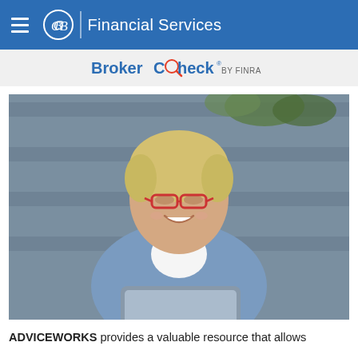CB Financial Services — BrokerCheck by FINRA
[Figure (photo): Smiling middle-aged woman with short blonde hair and red glasses, wearing a blue cardigan over a white shirt, holding a tablet device, seated outdoors with wooden slat background and greenery.]
ADVICEWORKS provides a valuable resource that allows